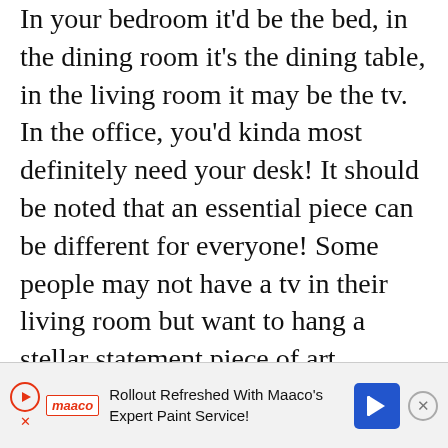In your bedroom it'd be the bed, in the dining room it's the dining table, in the living room it may be the tv. In the office, you'd kinda most definitely need your desk! It should be noted that an essential piece can be different for everyone! Some people may not have a tv in their living room but want to hang a stellar statement piece of art. Usually, I'd say art decor is last, but go ahead and hang that first if that's what you want to plan the whole room around!
Once your essentials are in, now you can fill it in with the other important pieces such as a coffee table,
[Figure (other): Advertisement banner: 'Rollout Refreshed With Maaco's Expert Paint Service!' with Maaco logo, play button, navigation icon, and close button]